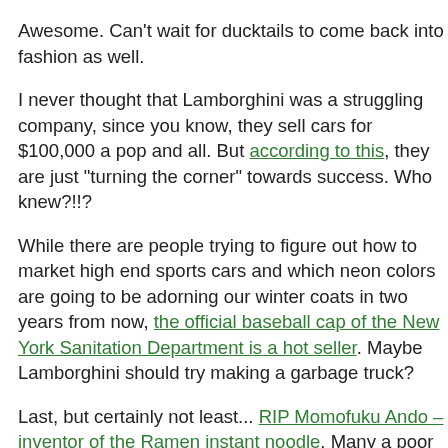Awesome.  Can't wait for ducktails to come back into fashion as well.
I never thought that Lamborghini was a struggling company, since you know, they sell cars for $100,000 a pop and all.  But according to this, they are just "turning the corner" towards success.  Who knew?!!?
While there are people trying to figure out how to market high end sports cars and which neon colors are going to be adorning our winter coats in two years from now, the official baseball cap of the New York Sanitation Department is a hot seller.  Maybe Lamborghini should try making a garbage truck?
Last, but certainly not least...  RIP Momofuku Ando – inventor of the Ramen instant noodle.  Many a poor college student owe him their sodium-soaked lives.  Note that he died of heart failure – one has to wonder if it was after eating a bowl of his own noodles.  On a side note: "Momofoku" is the coolest name